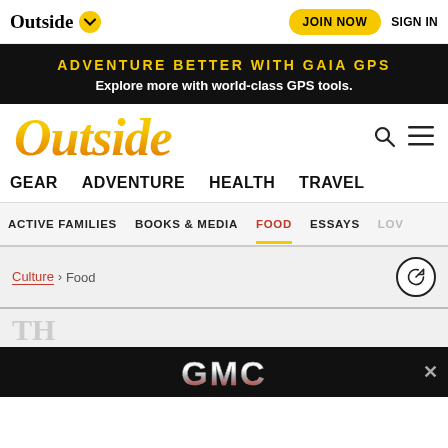Outside | JOIN NOW | SIGN IN
ADVENTURE BETTER WITH GAIA GPS
Explore more with world-class GPS tools.
Outside
GEAR  ADVENTURE  HEALTH  TRAVEL
ACTIVE FAMILIES  BOOKS & MEDIA  FOOD  ESSAYS  LOV...
Culture > Food
[Figure (logo): GMC logo advertisement banner at bottom of page]